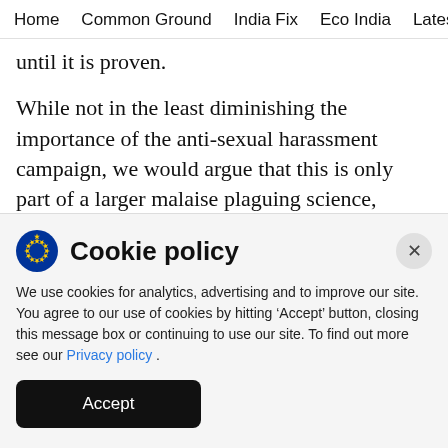Home   Common Ground   India Fix   Eco India   Latest   Th
until it is proven.
While not in the least diminishing the importance of the anti-sexual harassment campaign, we would argue that this is only part of a larger malaise plaguing science, particularly in India. The dominion of the “Old White Male” over various disciplines, from business to politics, has been the
Cookie policy
We use cookies for analytics, advertising and to improve our site. You agree to our use of cookies by hitting ‘Accept’ button, closing this message box or continuing to use our site. To find out more see our Privacy policy .
Accept